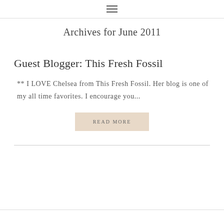☰ (hamburger menu icon)
Archives for June 2011
Guest Blogger: This Fresh Fossil
** I LOVE Chelsea from This Fresh Fossil. Her blog is one of my all time favorites. I encourage you...
READ MORE